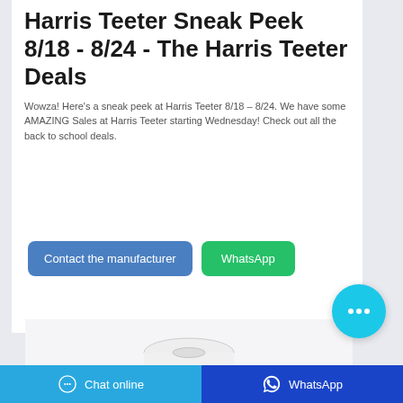Harris Teeter Sneak Peek 8/18 - 8/24 - The Harris Teeter Deals
Wowza! Here's a sneak peek at Harris Teeter 8/18 – 8/24. We have some AMAZING Sales at Harris Teeter starting Wednesday! Check out all the back to school deals.
[Figure (other): Button: Contact the manufacturer (blue rounded rectangle)]
[Figure (other): Button: WhatsApp (green rounded rectangle)]
[Figure (other): Floating cyan chat bubble button with three dots]
[Figure (photo): Product image: white adhesive tape roll on light grey background]
[Figure (other): Bottom bar: Chat online button (light blue) and WhatsApp button (dark blue)]